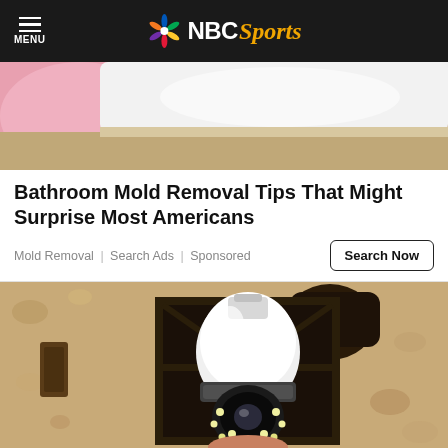MENU | NBC Sports
[Figure (photo): Top portion of bathroom mold removal advertisement image showing a person cleaning a bathtub or sink surface with a pink cloth]
Bathroom Mold Removal Tips That Might Surprise Most Americans
Mold Removal | Search Ads | Sponsored
[Figure (photo): Advertisement image showing a security camera shaped like a light bulb installed inside a black outdoor lantern fixture mounted on a textured stucco wall]